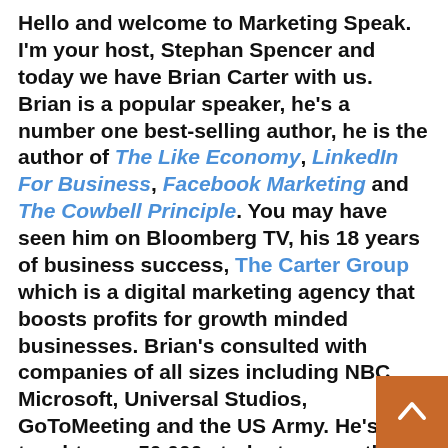Hello and welcome to Marketing Speak. I'm your host, Stephan Spencer and today we have Brian Carter with us. Brian is a popular speaker, he's a number one best-selling author, he is the author of The Like Economy, LinkedIn For Business, Facebook Marketing and The Cowbell Principle. You may have seen him on Bloomberg TV, his 18 years of business success, The Carter Group which is a digital marketing agency that boosts profits for growth minded businesses. Brian's consulted with companies of all sizes including NBC, Microsoft, Universal Studios, GoToMeeting and the US Army. He's has taught over 50,000 students, more than 250,000 online fans and he has reached more